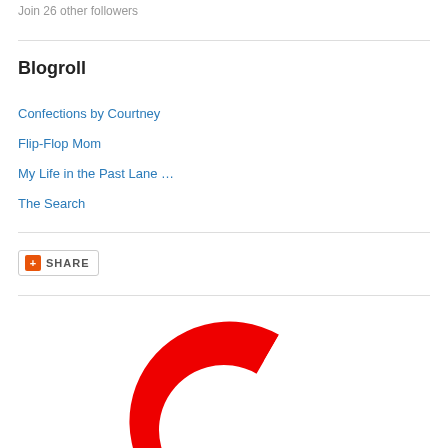Join 26 other followers
Blogroll
Confections by Courtney
Flip-Flop Mom
My Life in the Past Lane …
The Search
[Figure (other): Share button widget with orange plus icon and SHARE label]
[Figure (logo): Partial red circular arrow/logo icon cropped at bottom of page]